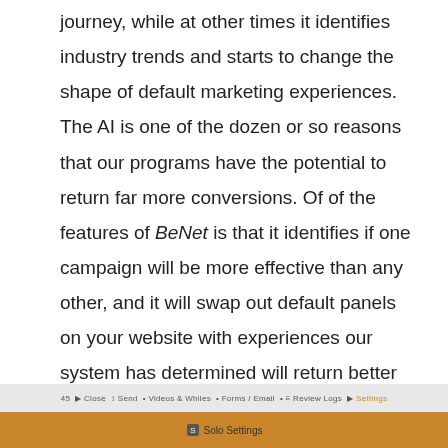journey, while at other times it identifies industry trends and starts to change the shape of default marketing experiences. The AI is one of the dozen or so reasons that our programs have the potential to return far more conversions. Of of the features of BeNet is that it identifies if one campaign will be more effective than any other, and it will swap out default panels on your website with experiences our system has determined will return better results. If activated, BeNet will make these changes without your intervention.
45  Close  Send  Videos & Whiles  Forms / Email  Review Logs  Settings